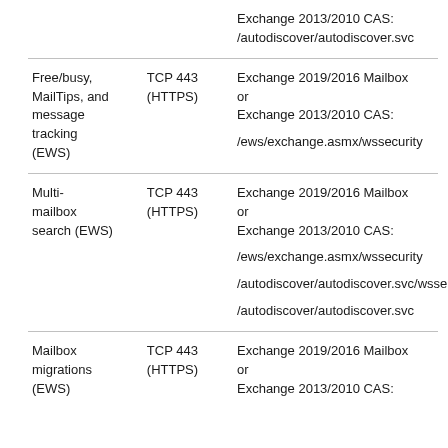| Feature | Protocol | Endpoint |
| --- | --- | --- |
|  |  | Exchange 2013/2010 CAS:
/autodiscover/autodiscover.svc |
| Free/busy, MailTips, and message tracking (EWS) | TCP 443 (HTTPS) | Exchange 2019/2016 Mailbox or Exchange 2013/2010 CAS:
/ews/exchange.asmx/wssecurity |
| Multi-mailbox search (EWS) | TCP 443 (HTTPS) | Exchange 2019/2016 Mailbox or Exchange 2013/2010 CAS:
/ews/exchange.asmx/wssecurity
/autodiscover/autodiscover.svc/wsse
/autodiscover/autodiscover.svc |
| Mailbox migrations (EWS) | TCP 443 (HTTPS) | Exchange 2019/2016 Mailbox or Exchange 2013/2010 CAS: |